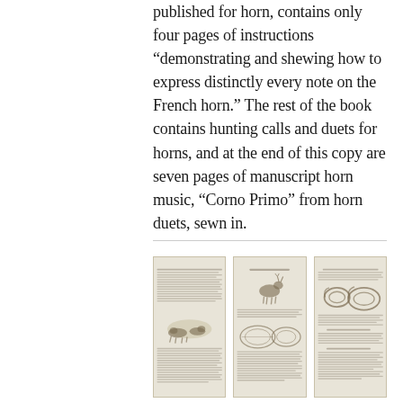published for horn, contains only four pages of instructions “demonstrating and shewing how to express distinctly every note on the French horn.” The rest of the book contains hunting calls and duets for horns, and at the end of this copy are seven pages of manuscript horn music, “Corno Primo” from horn duets, sewn in.
[Figure (photo): Three aged book pages side by side. Left page shows text and an illustration of animals (dogs or hounds). Middle page shows text with illustrations of a deer and an oval/shell shape. Right page shows text with illustrations of French horn shapes and additional text sections.]